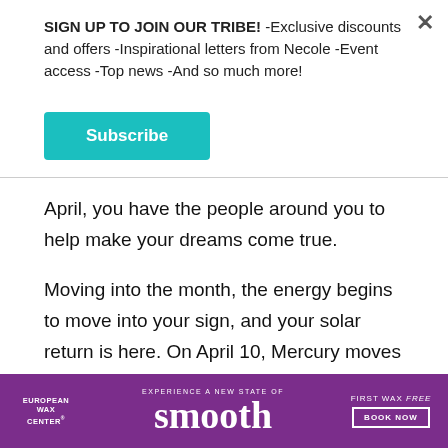SIGN UP TO JOIN OUR TRIBE! -Exclusive discounts and offers -Inspirational letters from Necole -Event access -Top news -And so much more!
[Figure (other): Teal Subscribe button]
April, you have the people around you to help make your dreams come true.
Moving into the month, the energy begins to move into your sign, and your solar return is here. On April 10, Mercury moves into Taurus, on April 19, Taurus Season begins, and on April 30, there is a New Moon Solar Eclipse in Taurus as well. April is your
[Figure (other): European Wax Center advertisement banner: purple background with 'smooth' in large text, 'FIRST WAX free BOOK NOW' on the right]